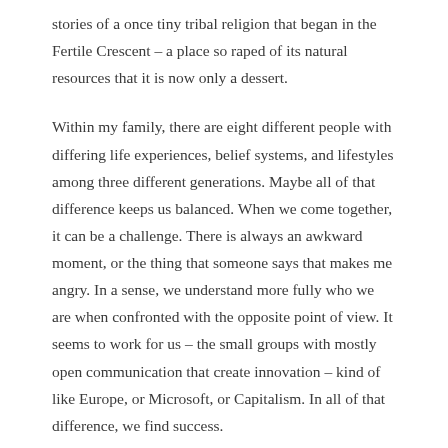stories of a once tiny tribal religion that began in the Fertile Crescent – a place so raped of its natural resources that it is now only a dessert.
Within my family, there are eight different people with differing life experiences, belief systems, and lifestyles among three different generations. Maybe all of that difference keeps us balanced. When we come together, it can be a challenge. There is always an awkward moment, or the thing that someone says that makes me angry. In a sense, we understand more fully who we are when confronted with the opposite point of view. It seems to work for us – the small groups with mostly open communication that create innovation – kind of like Europe, or Microsoft, or Capitalism. In all of that difference, we find success.